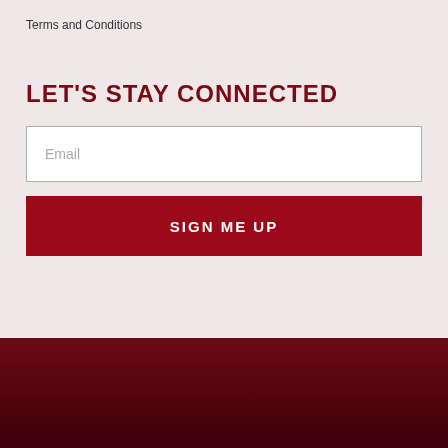Terms and Conditions
LET'S STAY CONNECTED
[Figure (other): Email input field with placeholder text 'Email']
[Figure (other): SIGN ME UP button in dark red]
© 2022 Meticulous Spa | Designed By UNXCOMMON INC.
[Figure (other): Social media icons row: Instagram, TikTok, Facebook, Pinterest, YouTube, Email, Mobile]
[Figure (other): Messenger chat button in bottom right]